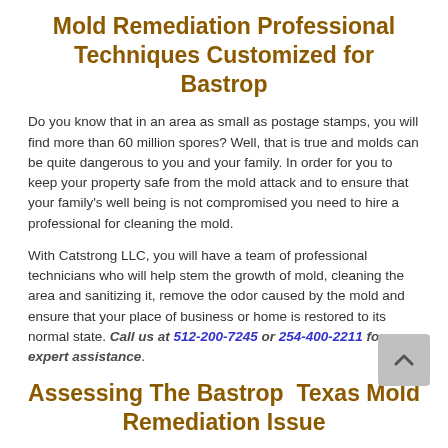Mold Remediation Professional Techniques Customized for Bastrop
Do you know that in an area as small as postage stamps, you will find more than 60 million spores? Well, that is true and molds can be quite dangerous to you and your family. In order for you to keep your property safe from the mold attack and to ensure that your family's well being is not compromised you need to hire a professional for cleaning the mold.
With Catstrong LLC, you will have a team of professional technicians who will help stem the growth of mold, cleaning the area and sanitizing it, remove the odor caused by the mold and ensure that your place of business or home is restored to its normal state. Call us at 512-200-7245 or 254-400-2211 for expert assistance.
Assessing The Bastrop  Texas Mold Remediation Issue
More often than not homeowners do not realize whether they are